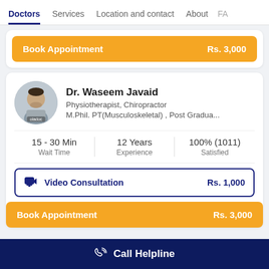Doctors | Services | Location and contact | About | FA
Book Appointment    Rs. 3,000
Dr. Waseem Javaid
Physiotherapist, Chiropractor
M.Phil. PT(Musculoskeletal) , Post Gradua...
15 - 30 Min
Wait Time
12 Years
Experience
100% (1011)
Satisfied
Video Consultation    Rs. 1,000
Book Appointment    Rs. 3,000
Call Helpline